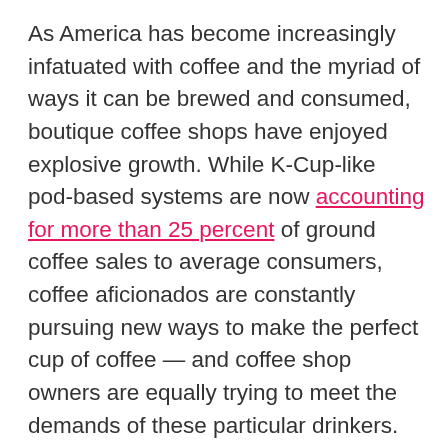As America has become increasingly infatuated with coffee and the myriad of ways it can be brewed and consumed, boutique coffee shops have enjoyed explosive growth. While K-Cup-like pod-based systems are now accounting for more than 25 percent of ground coffee sales to average consumers, coffee aficionados are constantly pursuing new ways to make the perfect cup of coffee — and coffee shop owners are equally trying to meet the demands of these particular drinkers. We've already taken a look at expensive, hand-made boutique coffee makers for the home, but I recently got to experience the Alpha Dominche Steampunk brewer, an American-made $15,000 machine designed to live behind the counter of your